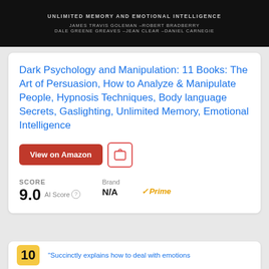UNLIMITED MEMORY AND EMOTIONAL INTELLIGENCE
JAMES TRAVIS GOLEMAN –ROBERT BRADBERRY
DALE GREENE GREAVES –JEAN CLEAR –DANIEL CARNEGIE
Dark Psychology and Manipulation: 11 Books: The Art of Persuasion, How to Analyze & Manipulate People, Hypnosis Techniques, Body language Secrets, Gaslighting, Unlimited Memory, Emotional Intelligence
View on Amazon
SCORE
9.0 AI Score
Brand N/A
Prime
"Succinctly explains how to deal with emotions